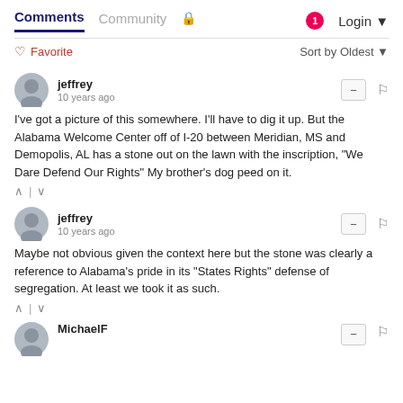Comments | Community | Login
Favorite   Sort by Oldest
jeffrey
10 years ago
I've got a picture of this somewhere. I'll have to dig it up. But the Alabama Welcome Center off of I-20 between Meridian, MS and Demopolis, AL has a stone out on the lawn with the inscription, "We Dare Defend Our Rights" My brother's dog peed on it.
jeffrey
10 years ago
Maybe not obvious given the context here but the stone was clearly a reference to Alabama's pride in its "States Rights" defense of segregation. At least we took it as such.
MichaelF